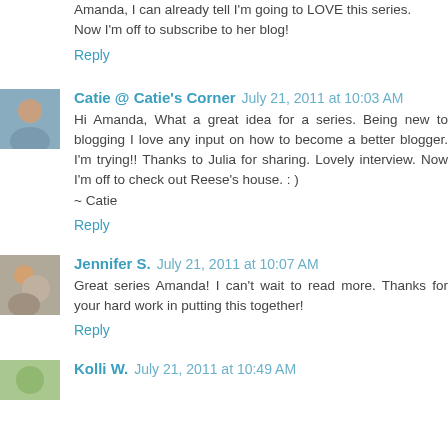Amanda, I can already tell I'm going to LOVE this series. Now I'm off to subscribe to her blog!
Reply
Catie @ Catie's Corner  July 21, 2011 at 10:03 AM
Hi Amanda, What a great idea for a series. Being new to blogging I love any input on how to become a better blogger. I'm trying!! Thanks to Julia for sharing. Lovely interview. Now I'm off to check out Reese's house. : )
~ Catie
Reply
Jennifer S.  July 21, 2011 at 10:07 AM
Great series Amanda! I can't wait to read more. Thanks for your hard work in putting this together!
Reply
Kolli W.  July 21, 2011 at 10:49 AM